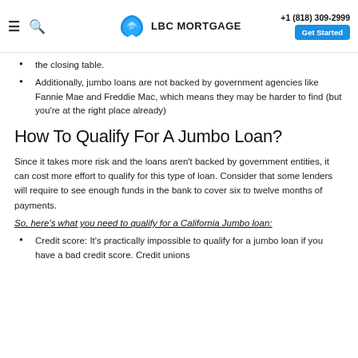LBC MORTGAGE | +1 (818) 309-2999 | Get Started
the closing table.
Additionally, jumbo loans are not backed by government agencies like Fannie Mae and Freddie Mac, which means they may be harder to find (but you're at the right place already)
How To Qualify For A Jumbo Loan?
Since it takes more risk and the loans aren't backed by government entities, it can cost more effort to qualify for this type of loan. Consider that some lenders will require to see enough funds in the bank to cover six to twelve months of payments.
So, here's what you need to qualify for a California Jumbo loan:
Credit score: It's practically impossible to qualify for a jumbo loan if you have a bad credit score. Credit unions